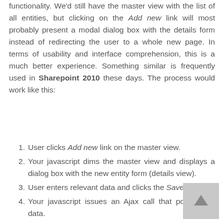functionality. We'd still have the master view with the list of all entities, but clicking on the Add new link will most probably present a modal dialog box with the details form instead of redirecting the user to a whole new page. In terms of usability and interface comprehension, this is a much better experience. Something similar is frequently used in Sharepoint 2010 these days. The process would work like this:
User clicks Add new link on the master view.
Your javascript dims the master view and displays a dialog box with the new entity form (details view).
User enters relevant data and clicks the Save link.
Your javascript issues an Ajax call that posts back data.
When everything goes according to